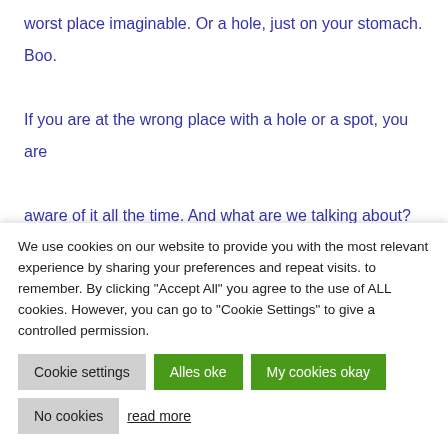worst place imaginable. Or a hole, just on your stomach. Boo.

If you are at the wrong place with a hole or a spot, you are

aware of it all the time. And what are we talking about? It's

maybe 2-3 millimeters. That's not big! But in your imagination

it's a Huge Hole or a Gigantic Blot that you yourself are a bit
We use cookies on our website to provide you with the most relevant experience by sharing your preferences and repeat visits. to remember. By clicking "Accept All" you agree to the use of ALL cookies. However, you can go to "Cookie Settings" to give a controlled permission.